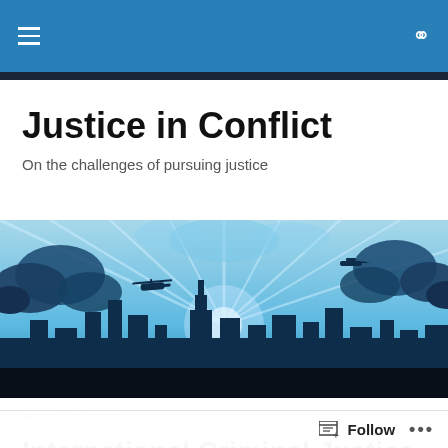Justice in Conflict — navigation bar
Justice in Conflict
On the challenges of pursuing justice
[Figure (illustration): Stylized blue cityscape silhouette with clouds, helicopter, and sun rays in background — banner illustration for the blog]
POSTED IN MIDDLE EAST
International Criminal Justice – A New Feature of Middle East Politics?
Follow